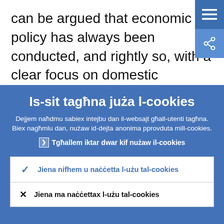can be argued that economic policy has always been conducted, and rightly so, with a clear focus on domestic objectives. When doing this successfully the US has also made a significant contribution to growth
Is-sit tagħna juża l-cookies
Dejjem naħdmu sabiex intejbu dan il-websajt għall-utenti tagħna. Biex nagħmlu dan, nużaw id-dejta anonima pprovduta mill-cookies.
Tgħallem iktar dwar kif nużaw il-cookies
✓ Jiena nifhem u naċċetta l-użu tal-cookies
✗ Jiena ma naċċettax l-użu tal-cookies